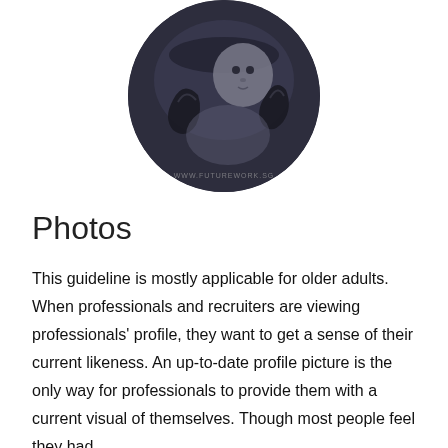[Figure (photo): Circular black-and-white photo of a baby holding telephone receivers, with watermark 'www.futurework.sg' at the bottom of the image.]
Photos
This guideline is mostly applicable for older adults. When professionals and recruiters are viewing professionals' profile, they want to get a sense of their current likeness. An up-to-date profile picture is the only way for professionals to provide them with a current visual of themselves. Though most people feel they had